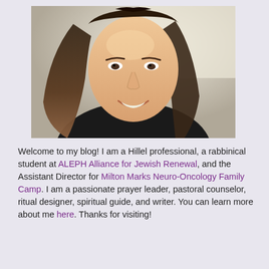[Figure (photo): A smiling young woman with long brown hair, taking a selfie-style photograph, wearing dark clothing.]
Welcome to my blog! I am a Hillel professional, a rabbinical student at ALEPH Alliance for Jewish Renewal, and the Assistant Director for Milton Marks Neuro-Oncology Family Camp. I am a passionate prayer leader, pastoral counselor, ritual designer, spiritual guide, and writer. You can learn more about me here. Thanks for visiting!